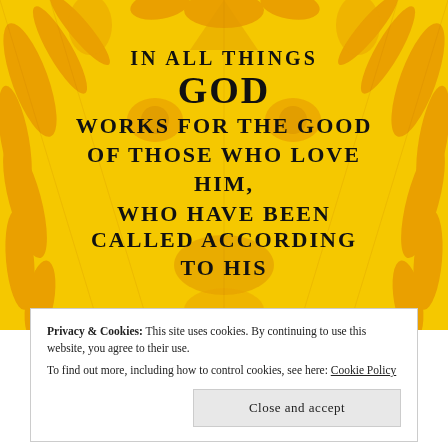[Figure (illustration): Yellow/orange background with lion face illustration. Overlaid bold black text reads: IN ALL THINGS GOD WORKS FOR THE GOOD OF THOSE WHO LOVE HIM, WHO HAVE BEEN CALLED ACCORDING TO HIS]
Privacy & Cookies: This site uses cookies. By continuing to use this website, you agree to their use.
To find out more, including how to control cookies, see here: Cookie Policy
Close and accept